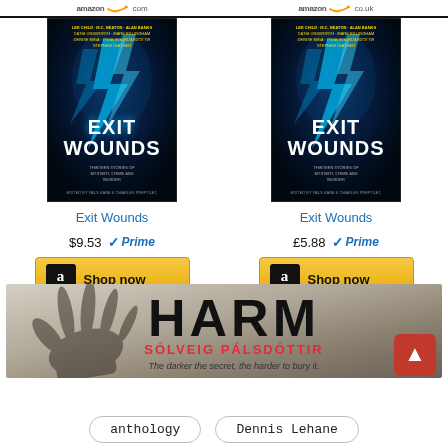[Figure (screenshot): Amazon logo header row with two Amazon logos and store links]
[Figure (photo): Book cover of 'Exit Wounds' - dark blue with lightning bolts and white title text]
Exit Wounds
$9.53  Prime
[Figure (other): Amazon 'Shop now' button for US store]
[Figure (photo): Book cover of 'Exit Wounds' - dark blue with lightning bolts and white title text]
Exit Wounds
£5.88  Prime
[Figure (other): Amazon 'Shop now' button for UK store]
[Figure (photo): Banner advertisement for book 'HARM' by Sólveig Pálsdóttir with tagline: The darker the secret, the harder to bury it.]
anthology
Dennis Lehane